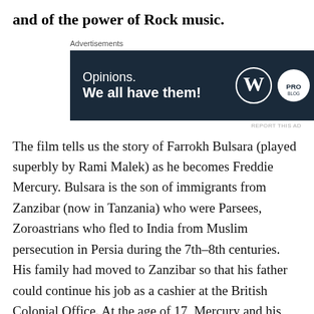and of the power of Rock music.
[Figure (other): Advertisement banner with dark navy background. Text reads 'Opinions. We all have them!' with WordPress W logo and a partner logo on the right.]
The film tells us the story of Farrokh Bulsara (played superbly by Rami Malek) as he becomes Freddie Mercury. Bulsara is the son of immigrants from Zanzibar (now in Tanzania) who were Parsees, Zoroastrians who fled to India from Muslim persecution in Persia during the 7th–8th centuries. His family had moved to Zanzibar so that his father could continue his job as a cashier at the British Colonial Office. At the age of 17, Mercury and his family fled from Zanzibar because of the 1964 Zanzibar Revolution, in which thousands of Arabs and Indians were killed. To the credit of the film this is made clear (though